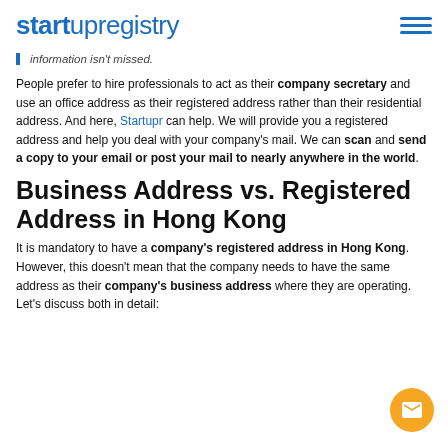startupregistry
information isn't missed.
People prefer to hire professionals to act as their company secretary and use an office address as their registered address rather than their residential address. And here, Startupr can help. We will provide you a registered address and help you deal with your company's mail. We can scan and send a copy to your email or post your mail to nearly anywhere in the world.
Business Address vs. Registered Address in Hong Kong
It is mandatory to have a company's registered address in Hong Kong. However, this doesn't mean that the company needs to have the same address as their company's business address where they are operating. Let's discuss both in detail: